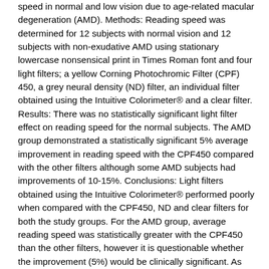speed in normal and low vision due to age-related macular degeneration (AMD). Methods: Reading speed was determined for 12 subjects with normal vision and 12 subjects with non-exudative AMD using stationary lowercase nonsensical print in Times Roman font and four light filters; a yellow Corning Photochromic Filter (CPF) 450, a grey neural density (ND) filter, an individual filter obtained using the Intuitive Colorimeter® and a clear filter. Results: There was no statistically significant light filter effect on reading speed for the normal subjects. The AMD group demonstrated a statistically significant 5% average improvement in reading speed with the CPF450 compared with the other filters although some AMD subjects had improvements of 10-15%. Conclusions: Light filters obtained using the Intuitive Colorimeter® performed poorly when compared with the CPF450, ND and clear filters for both the study groups. For the AMD group, average reading speed was statistically greater with the CPF450 than the other filters, however it is questionable whether the improvement (5%) would be clinically significant. As some of the subjects with AMD had greater improvements with the CPF450 we advocate clinical assessment of light filters using existing protocols on an individual basis. © 2004 The College of Optometrists.